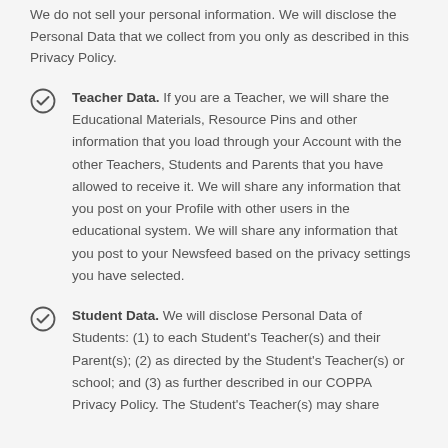We do not sell your personal information. We will disclose the Personal Data that we collect from you only as described in this Privacy Policy.
Teacher Data. If you are a Teacher, we will share the Educational Materials, Resource Pins and other information that you load through your Account with the other Teachers, Students and Parents that you have allowed to receive it. We will share any information that you post on your Profile with other users in the educational system. We will share any information that you post to your Newsfeed based on the privacy settings you have selected.
Student Data. We will disclose Personal Data of Students: (1) to each Student's Teacher(s) and their Parent(s); (2) as directed by the Student's Teacher(s) or school; and (3) as further described in our COPPA Privacy Policy. The Student's Teacher(s) may share